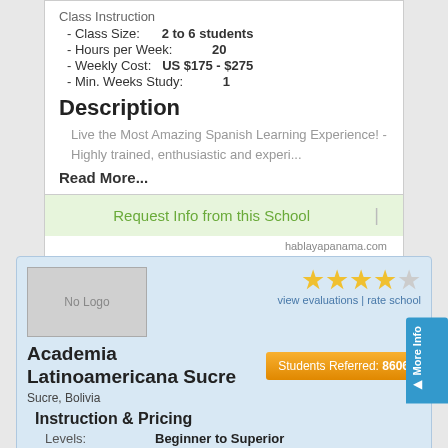Class Instruction
- Class Size: 2 to 6 students
- Hours per Week: 20
- Weekly Cost: US $175 - $275
- Min. Weeks Study: 1
Description
Live the Most Amazing Spanish Learning Experience! - Highly trained, enthusiastic and experi...
Read More...
Request Info from this School
hablayapanama.com
Academia Latinoamericana Sucre
Students Referred: 8606
Sucre, Bolivia
Instruction & Pricing
Levels: Beginner to Superior
School Size: Small
Deposit or Fee: US $40.00
Individual Instruction
- Hourly Cost: US $6.00